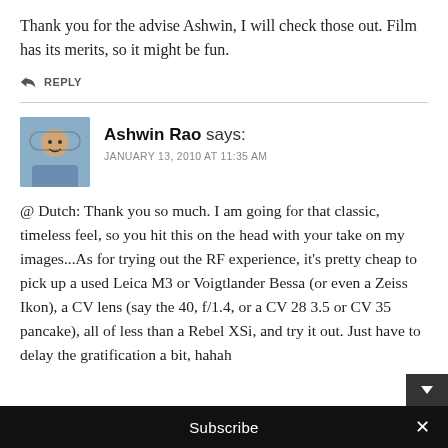Thank you for the advise Ashwin, I will check those out. Film has its merits, so it might be fun.
↩ REPLY
Ashwin Rao says:
JANUARY 13, 2010 AT 11:35 AM
@ Dutch: Thank you so much. I am going for that classic, timeless feel, so you hit this on the head with your take on my images...As for trying out the RF experience, it's pretty cheap to pick up a used Leica M3 or Voigtlander Bessa (or even a Zeiss Ikon), a CV lens (say the 40, f/1.4, or a CV 28 3.5 or CV 35 pancake), all of less than a Rebel XSi, and try it out. Just have to delay the gratification a bit, hahah
Subscribe ×